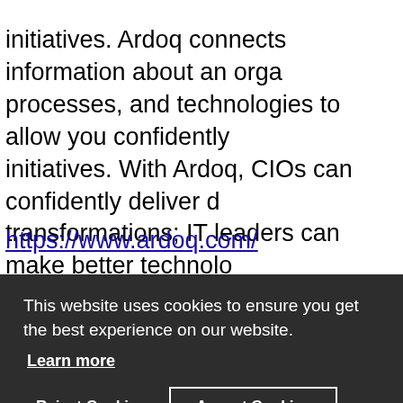initiatives. Ardoq connects information about an organization's processes, and technologies to allow you confidently initiatives. With Ardoq, CIOs can confidently deliver transformations; IT leaders can make better technology on timely information; and EAs can serve as change business and IT collaboration for better outcomes! -
https://www.ardoq.com/
[Figure (logo): Ardoq logo with purple blob and dark navy 'oo' letters on light gray background]
This website uses cookies to ensure you get the best experience on our website.
Learn more
Reject Cookies
Accept Cookies
Quicklinks